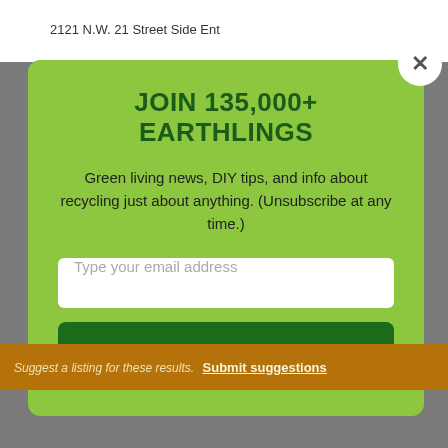2121 N.W. 21 Street Side Ent
JOIN 135,000+ EARTHLINGS
Green living news, DIY tips, and info about recycling just about anything. (Unsubscribe at any time.)
Type your email address
SUBSCRIBE
Suggest a listing for these results. Submit suggestions